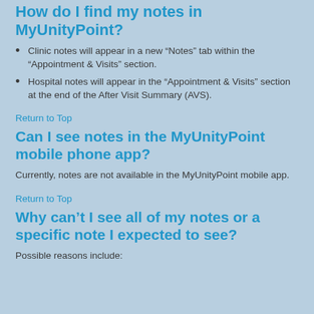How do I find my notes in MyUnityPoint?
Clinic notes will appear in a new “Notes” tab within the “Appointment & Visits” section.
Hospital notes will appear in the “Appointment & Visits” section at the end of the After Visit Summary (AVS).
Return to Top
Can I see notes in the MyUnityPoint mobile phone app?
Currently, notes are not available in the MyUnityPoint mobile app.
Return to Top
Why can’t I see all of my notes or a specific note I expected to see?
Possible reasons include: